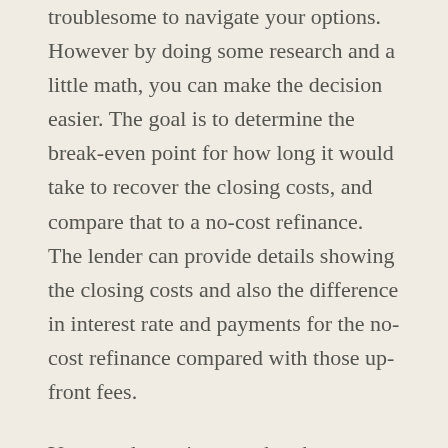troublesome to navigate your options. However by doing some research and a little math, you can make the decision easier. The goal is to determine the break-even point for how long it would take to recover the closing costs, and compare that to a no-cost refinance. The lender can provide details showing the closing costs and also the difference in interest rate and payments for the no-cost refinance compared with those up-front fees.
You can determine your break-even point by first figuring out the monthly savings from your current house payment to the refinanced payment. Then, determine the after-tax rate by subtracting your effective tax rate from 1. For example, if you are in a 25% tax bracket, you would take 1 minus 0.25, which is 0.75. Next, take your monthly savings and multiply it by your after-tax rate. In our example, you would take your